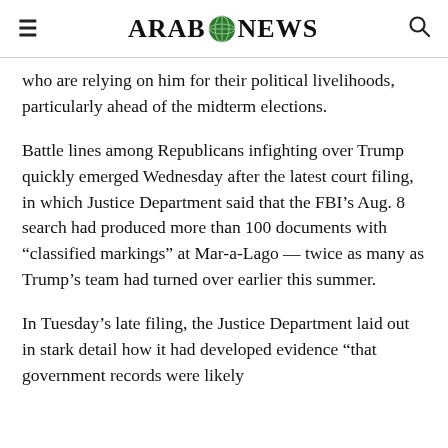ARAB NEWS
who are relying on him for their political livelihoods, particularly ahead of the midterm elections.
Battle lines among Republicans infighting over Trump quickly emerged Wednesday after the latest court filing, in which Justice Department said that the FBI’s Aug. 8 search had produced more than 100 documents with “classified markings” at Mar-a-Lago — twice as many as Trump’s team had turned over earlier this summer.
In Tuesday’s late filing, the Justice Department laid out in stark detail how it had developed evidence “that government records were likely